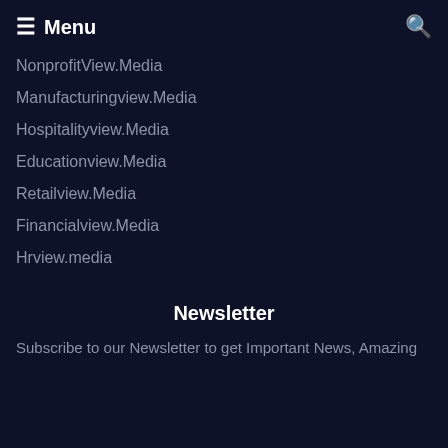Menu
NonprofitView.Media
Manufacturingview.Media
Hospitalityview.Media
Educationview.Media
Retailview.Media
Financialview.Media
Hrview.media
Newsletter
Subscribe to our Newsletter to get Important News, Amazing